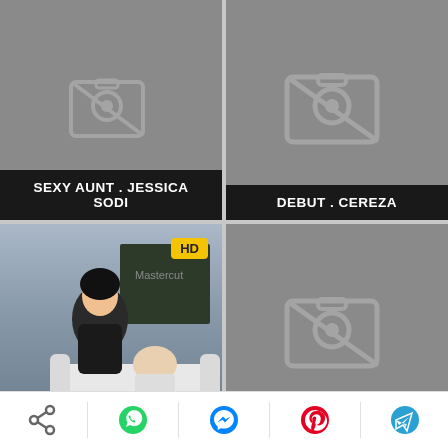[Figure (screenshot): Video thumbnail placeholder with no-image icon, labeled SEXY AUNT . JESSICA SODI]
SEXY AUNT . JESSICA SODI
[Figure (screenshot): Video thumbnail placeholder with no-image icon, labeled DEBUT . CEREZA]
DEBUT . CEREZA
[Figure (screenshot): HD video thumbnail showing classroom scene, labeled THE SCHOLAR FAREWELLS . MIN]
THE SCHOLAR FAREWELLS . MIN
[Figure (screenshot): Video thumbnail placeholder with no-image icon, no label visible]
[Figure (infographic): Bottom navigation bar with share, WhatsApp, Messenger, Pinterest, and Telegram icons]